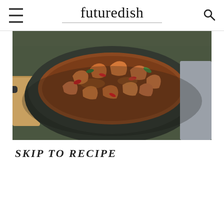futuredish
[Figure (photo): A dark wok/pan on a stovetop filled with stir-fried shrimp in a glossy sauce with red chili peppers and green vegetables]
SKIP TO RECIPE